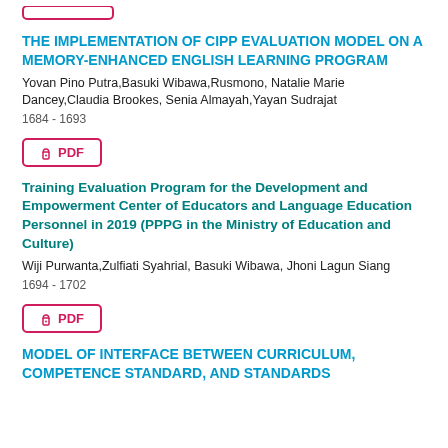[Figure (other): Partial pink/red bordered button at top of page (cropped)]
THE IMPLEMENTATION OF CIPP EVALUATION MODEL ON A MEMORY-ENHANCED ENGLISH LEARNING PROGRAM
Yovan Pino Putra,Basuki Wibawa,Rusmono, Natalie Marie Dancey,Claudia Brookes, Senia Almayah,Yayan Sudrajat
1684 - 1693
[Figure (other): PDF download button with lock icon, pink/red border]
Training Evaluation Program for the Development and Empowerment Center of Educators and Language Education Personnel in 2019 (PPPG in the Ministry of Education and Culture)
Wiji Purwanta,Zulfiati Syahrial, Basuki Wibawa, Jhoni Lagun Siang
1694 - 1702
[Figure (other): PDF download button with lock icon, pink/red border]
MODEL OF INTERFACE BETWEEN CURRICULUM, COMPETENCE STANDARD, AND STANDARDS